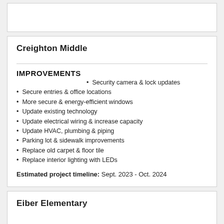Creighton Middle
IMPROVEMENTS
Security camera & lock updates
Secure entries & office locations
More secure & energy-efficient windows
Update existing technology
Update electrical wiring & increase capacity
Update HVAC, plumbing & piping
Parking lot & sidewalk improvements
Replace old carpet & floor tile
Replace interior lighting with LEDs
Estimated project timeline: Sept. 2023 - Oct. 2024
Eiber Elementary